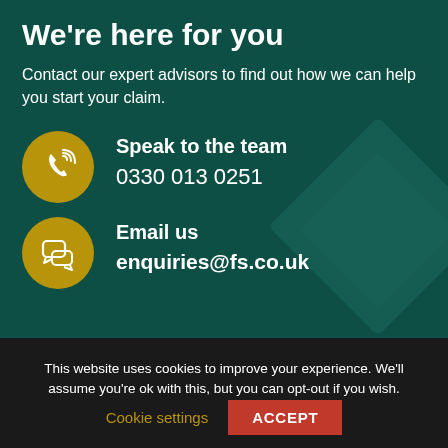We're here for you
Contact our expert advisors to find out how we can help you start your claim.
[Figure (illustration): Gold circle with white phone/call icon]
Speak to the team
0330 013 0251
[Figure (illustration): Gold circle with white chat/message bubbles icon]
Email us
enquiries@fs.co.uk
This website uses cookies to improve your experience. We'll assume you're ok with this, but you can opt-out if you wish.
Cookie settings
ACCEPT